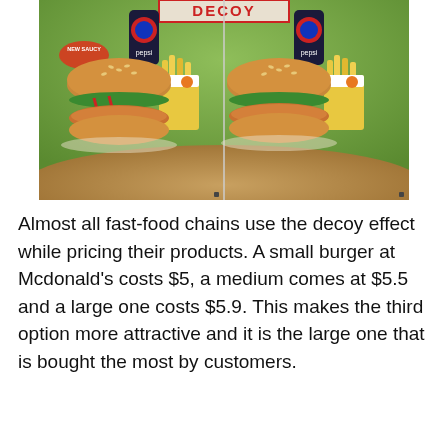[Figure (photo): Burger King advertisement showing two meal combos side by side — each with a sesame bun burger, french fries, and a Pepsi can. The left meal has a red 'NEW SAUCY' badge and shows a burger with sauce and toppings. A red banner at the top reads 'DECOY'. Both meals are displayed on a wooden surface with a green blurred background.]
Almost all fast-food chains use the decoy effect while pricing their products. A small burger at Mcdonald's costs $5, a medium comes at $5.5 and a large one costs $5.9. This makes the third option more attractive and it is the large one that is bought the most by customers.